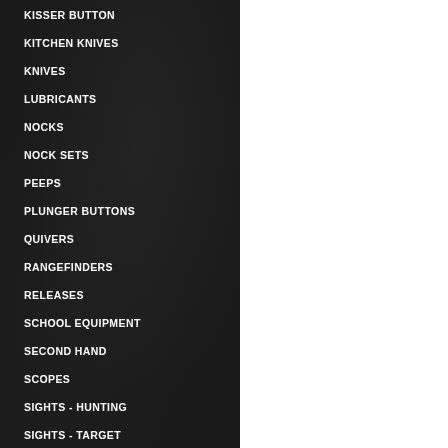KISSER BUTTON
KITCHEN KNIVES
KNIVES
LUBRICANTS
NOCKS
NOCK SETS
PEEPS
PLUNGER BUTTONS
QUIVERS
RANGEFINDERS
RELEASES
SCHOOL EQUIPMENT
SECOND HAND
SCOPES
SIGHTS - HUNTING
SIGHTS - TARGET